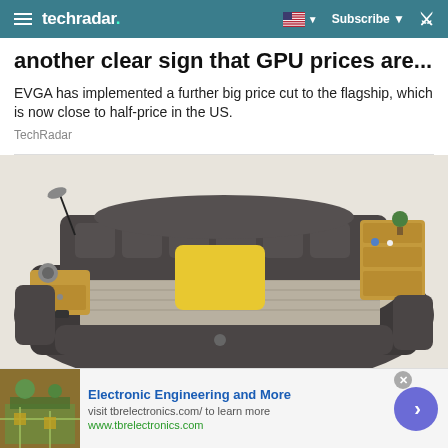techradar
another clear sign that GPU prices are...
EVGA has implemented a further big price cut to the flagship, which is now close to half-price in the US.
TechRadar
[Figure (photo): A luxurious multi-feature smart bed with built-in storage drawers, speakers, USB ports, reading lamp, shelving units, and a yellow accent pillow on grey bedding.]
Electronic Engineering and More
visit tbrelectronics.com/ to learn more
www.tbrelectronics.com